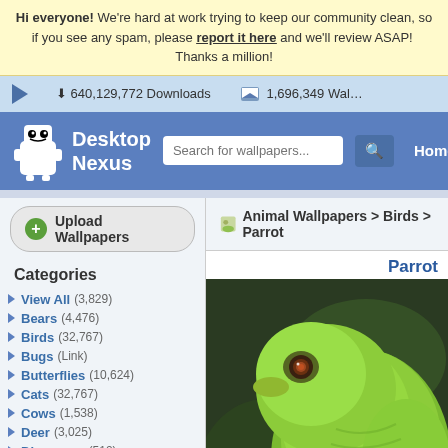Hi everyone! We're hard at work trying to keep our community clean, so if you see any spam, please report it here and we'll review ASAP! Thanks a million!
640,129,772 Downloads   1,696,349 Wallpapers
[Figure (screenshot): Desktop Nexus website header with logo, search bar, and Home navigation link]
Upload Wallpapers
Animal Wallpapers > Birds > Parrot
Categories
View All (3,829)
Bears (4,476)
Birds (32,767)
Bugs (Link)
Butterflies (10,624)
Cats (32,767)
Cows (1,538)
Deer (3,025)
Dinosaurs (510)
Dogs (32,767)
Dolphins (1,203)
Ducks (1,524)
Elephants (1,298)
Fish (3,158)
Frogs (5,708)
Parrot
[Figure (photo): Close-up photo of a green parrot against a dark blurred background]